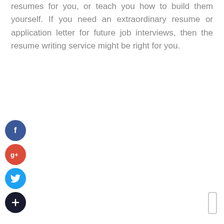resumes for you, or teach you how to build them yourself. If you need an extraordinary resume or application letter for future job interviews, then the resume writing service might be right for you.
[Figure (infographic): Four social media icon buttons stacked vertically: Facebook (blue circle with 'f'), Google+ (red circle with 'g+'), Twitter (light blue circle with bird icon), and a dark navy circle with '+' symbol.]